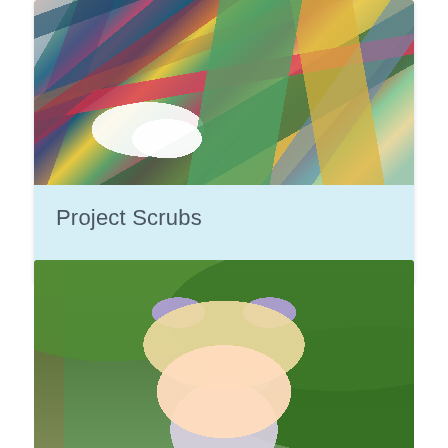[Figure (photo): A large pile of colorful clothing items spread out on a floor, including floral prints, solid colors, denim, and patterned fabrics in various colors such as teal, pink, navy, yellow, green, and white.]
Project Scrubs
[Figure (photo): A blonde woman wearing a colorful cat ear headband with sparkly/holographic rainbow cat ears, dramatic colorful eye makeup with green eyeshadow and cat eyeliner, and a decorative face mask with a colorful print featuring characters. Green foliage is visible in the background.]